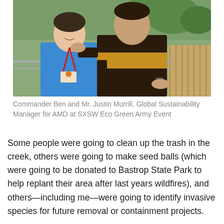[Figure (photo): Two men posing together outdoors. The man on the left is younger, wearing a blue t-shirt with a red lanyard and conference badge. The man on the right is taller, wearing a dark brown and yellow striped polo shirt and a watch. Trees and a wooden fence are visible in the background.]
Commander Ben and Mr. Justin Murrill, Global Sustainability Manager for AMD at SXSW Eco Green Army Event
Some people were going to clean up the trash in the creek, others were going to make seed balls (which were going to be donated to Bastrop State Park to help replant their area after last years wildfires), and others—including me—were going to identify invasive species for future removal or containment projects.